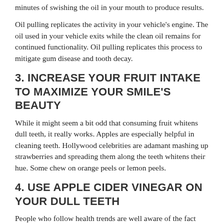minutes of swishing the oil in your mouth to produce results.
Oil pulling replicates the activity in your vehicle's engine. The oil used in your vehicle exits while the clean oil remains for continued functionality. Oil pulling replicates this process to mitigate gum disease and tooth decay.
3. INCREASE YOUR FRUIT INTAKE TO MAXIMIZE YOUR SMILE'S BEAUTY
While it might seem a bit odd that consuming fruit whitens dull teeth, it really works. Apples are especially helpful in cleaning teeth. Hollywood celebrities are adamant mashing up strawberries and spreading them along the teeth whitens their hue. Some chew on orange peels or lemon peels.
4. USE APPLE CIDER VINEGAR ON YOUR DULL TEETH
People who follow health trends are well aware of the fact that apple cider vinegar seems to work for just about every other body ailment. If you are looking to whiten dull